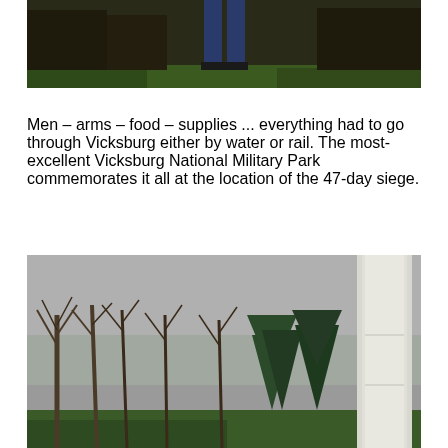[Figure (photo): Top portion of a photo showing a person standing in a grassy field with bare trees in the background, only the lower body/legs visible]
Men – arms – food – supplies ... everything had to go through Vicksburg either by water or rail.  The most-excellent Vicksburg National Military Park commemorates it all at the location of the 47-day siege.
[Figure (photo): Photo of a white obelisk or monument column standing among bare leafless trees and evergreen trees under an overcast gray sky at Vicksburg National Military Park]